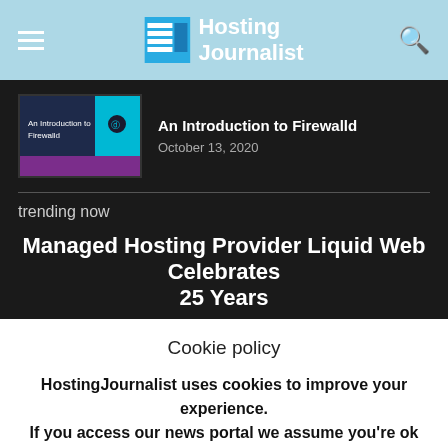Hosting Journalist
An Introduction to Firewalld
October 13, 2020
trending now
Managed Hosting Provider Liquid Web Celebrates 25 Years
Cookie policy
HostingJournalist uses cookies to improve your experience. If you access our news portal we assume you're ok with this.
close  read more